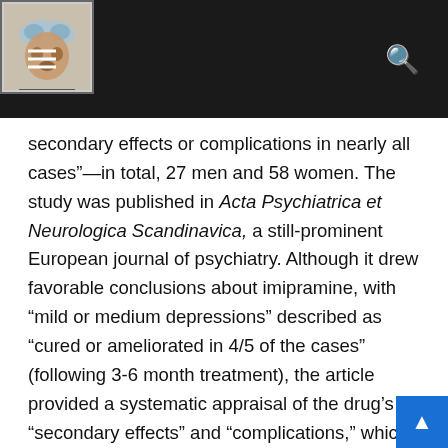[Navigation header with hamburger menu, logo, and search icon]
secondary effects or complications in nearly all cases”—in total, 27 men and 58 women. The study was published in Acta Psychiatrica et Neurologica Scandinavica, a still-prominent European journal of psychiatry. Although it drew favorable conclusions about imipramine, with “mild or medium depressions” described as “cured or ameliorated in 4/5 of the cases” (following 3-6 month treatment), the article provided a systematic appraisal of the drug’s “secondary effects” and “complications,” which were found to recur with a frequency and intensity that conflicts with the study’s ultimate verdict.
The fact that antidepressant withdrawal was flagged at the outset, with serious “withdrawal symptoms … observed in [out of 85] cases”—in this study, 17.6 percent—“lasting ab…